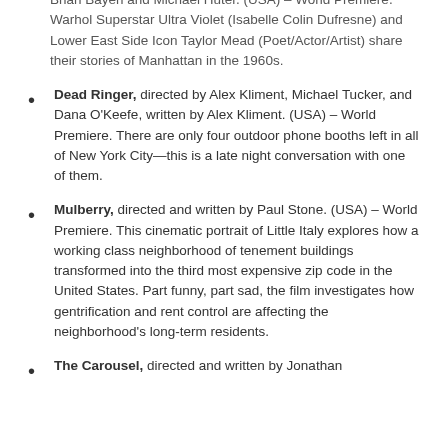Brian Bayerl and Michael Huter. (USA) – World Premiere. Warhol Superstar Ultra Violet (Isabelle Colin Dufresne) and Lower East Side Icon Taylor Mead (Poet/Actor/Artist) share their stories of Manhattan in the 1960s.
Dead Ringer, directed by Alex Kliment, Michael Tucker, and Dana O'Keefe, written by Alex Kliment. (USA) – World Premiere. There are only four outdoor phone booths left in all of New York City—this is a late night conversation with one of them.
Mulberry, directed and written by Paul Stone. (USA) – World Premiere. This cinematic portrait of Little Italy explores how a working class neighborhood of tenement buildings transformed into the third most expensive zip code in the United States. Part funny, part sad, the film investigates how gentrification and rent control are affecting the neighborhood's long-term residents.
The Carousel, directed and written by Jonathan